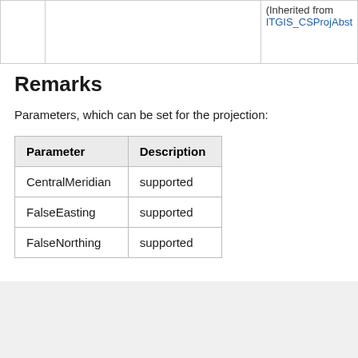|  |  |  |
| --- | --- | --- |
|  |  | (Inherited from
ITGIS_CSProjAbst |
Remarks
Parameters, which can be set for the projection:
| Parameter | Description |
| --- | --- |
| CentralMeridian | supported |
| FalseEasting | supported |
| FalseNorthing | supported |
2021/12/07 08:37
©2022 TatukGIS. All Rights Reserved.
Send feedback Translate